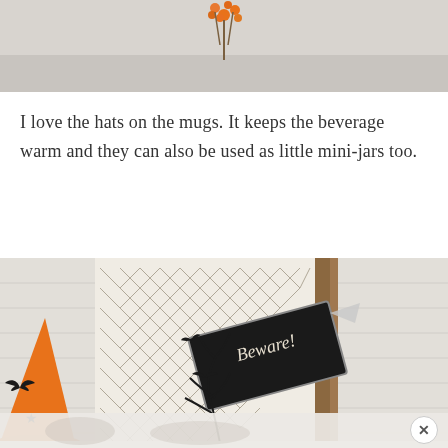[Figure (photo): Top portion of a photo showing a surface with orange berry branches/stems visible against a light gray background]
I love the hats on the mugs. It keeps the beverage warm and they can also be used as little mini-jars too.
[Figure (photo): Halloween decoration scene featuring an orange witch hat with black bat cutouts and stars, a herringbone patterned pillow/textile, a black chalkboard sign reading 'Beware!', black bat decorations, and black twig branches on a white brick fireplace mantel]
[Figure (photo): Bottom strip of a partially visible photo showing a faded/blurred Halloween decoration scene with a close button (X) in the lower right corner]